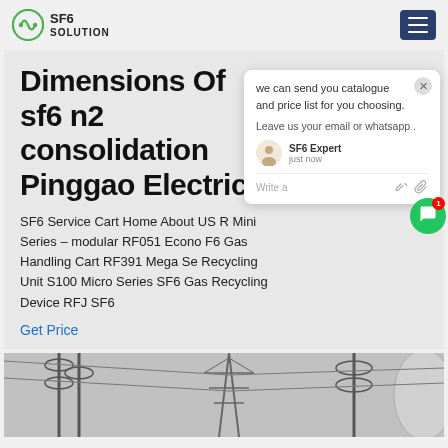SF6 SOLUTION
Dimensions Of sf6 n2 consolidation Pinggao Electric
SF6 Service Cart Home About US RF Mini Series – modular RF051 Econo F6 Gas Handling Cart RF391 Mega Se Recycling Unit S100 Micro Series SF6 Gas Recycling Device RFJ SF6
Get Price
[Figure (screenshot): Chat popup with message: we can send you catalogue and price list for you choosing. Leave us your email or whatsapp. SF6 Expert just now. Write a message input area.]
[Figure (photo): Electrical substation equipment including transformers and transmission towers, grayscale image]